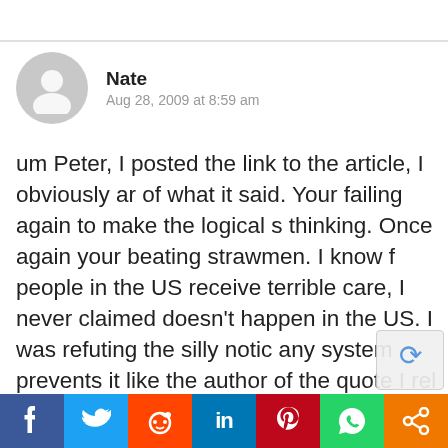Nate
Aug 28, 2009 at 8:59 am
um Peter, I posted the link to the article, I obviously ar of what it said. Your failing again to make the logical s thinking. Once again your beating strawmen. I know f people in the US receive terrible care, I never claimed doesn’t happen in the US. I was refuting the silly notic any system prevents it like the author of the quote I rel said. Do you really think any system we put in place o matter in system in the world prevents “a situation where he received subpar care because he have insurance. No one would have to fear watching a one die in screaming pain because the doctor never ex that “palliative care” was available.”